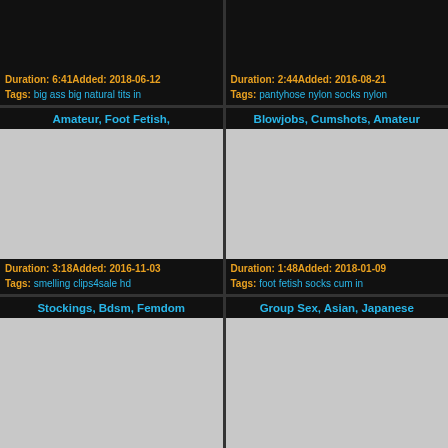Duration: 6:41 Added: 2018-06-12
Tags: big ass big natural tits in
Duration: 2:44 Added: 2016-08-21
Tags: pantyhose nylon socks nylon
Amateur, Foot Fetish,
[Figure (photo): Video thumbnail placeholder (light gray)]
Duration: 3:18 Added: 2016-11-03
Tags: smelling clips4sale hd
Blowjobs, Cumshots, Amateur
[Figure (photo): Video thumbnail placeholder (light gray)]
Duration: 1:48 Added: 2018-01-09
Tags: foot fetish socks cum in
Stockings, Bdsm, Femdom
[Figure (photo): Video thumbnail placeholder (light gray)]
Group Sex, Asian, Japanese
[Figure (photo): Video thumbnail placeholder (light gray)]